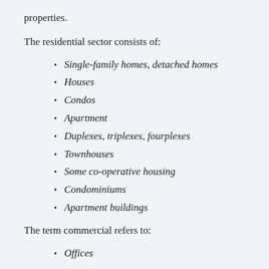properties.
The residential sector consists of:
Single-family homes, detached homes
Houses
Condos
Apartment
Duplexes, triplexes, fourplexes
Townhouses
Some co-operative housing
Condominiums
Apartment buildings
The term commercial refers to:
Offices